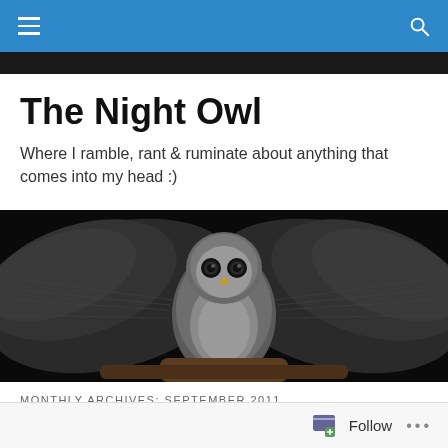Navigation bar with hamburger menu and search icon
The Night Owl
Where I ramble, rant & ruminate about anything that comes into my head :)
[Figure (photo): An owl with wings spread wide against a dark background, perched on a branch, facing the camera.]
MONTHLY ARCHIVES: SEPTEMBER 2011
I've got my tutor, at last
Follow